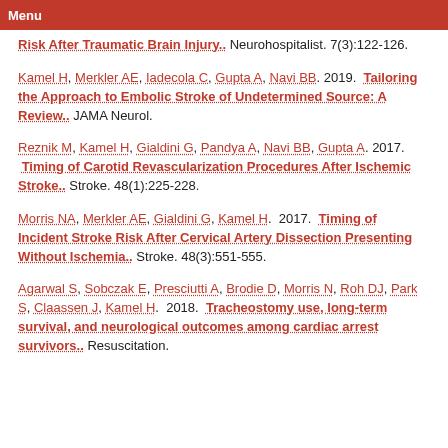Menu
Risk After Traumatic Brain Injury.. Neurohospitalist. 7(3):122-126.
Kamel H, Merkler AE, Iadecola C, Gupta A, Navi BB. 2019. Tailoring the Approach to Embolic Stroke of Undetermined Source: A Review.. JAMA Neurol.
Reznik M, Kamel H, Gialdini G, Pandya A, Navi BB, Gupta A. 2017. Timing of Carotid Revascularization Procedures After Ischemic Stroke.. Stroke. 48(1):225-228.
Morris NA, Merkler AE, Gialdini G, Kamel H. 2017. Timing of Incident Stroke Risk After Cervical Artery Dissection Presenting Without Ischemia.. Stroke. 48(3):551-555.
Agarwal S, Sobczak E, Presciutti A, Brodie D, Morris N, Roh DJ, Park S, Claassen J, Kamel H. 2018. Tracheostomy use, long-term survival, and neurological outcomes among cardiac arrest survivors.. Resuscitation.